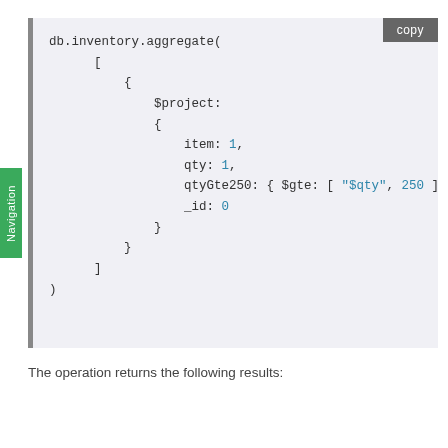[Figure (screenshot): Code block showing a MongoDB aggregation query: db.inventory.aggregate([ { $project: { item: 1, qty: 1, qtyGte250: { $gte: [ "$qty", 250 ] }, _id: 0 } } ] ) with a 'copy' button in the top-right corner]
The operation returns the following results: